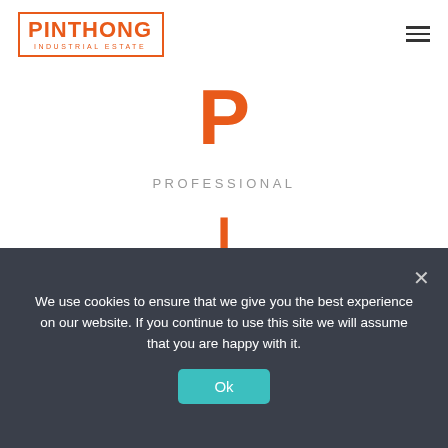[Figure (logo): Pinthong Industrial Estate logo — orange rectangle border with PINTHONG in bold orange uppercase and INDUSTRIAL ESTATE in small caps below]
P
PROFESSIONAL
I
INNOVATIVE
We use cookies to ensure that we give you the best experience on our website. If you continue to use this site we will assume that you are happy with it.